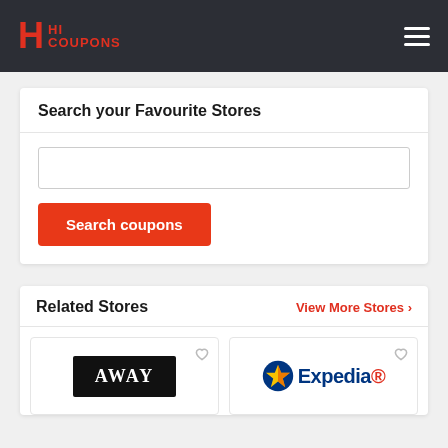HI COUPONS
Search your Favourite Stores
[Figure (screenshot): Search input text field, empty]
Search coupons
Related Stores
View More Stores >
[Figure (logo): AWAY store logo - white text on black background]
[Figure (logo): Expedia store logo with star icon]